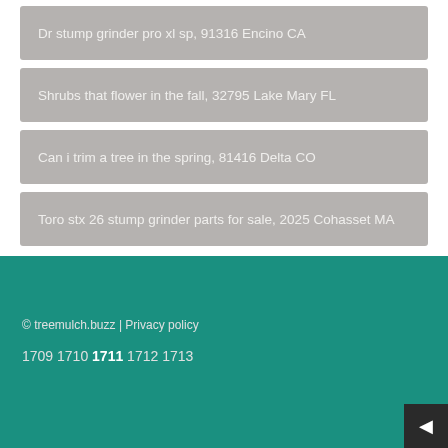Dr stump grinder pro xl sp, 91316 Encino CA
Shrubs that flower in the fall, 32795 Lake Mary FL
Can i trim a tree in the spring, 81416 Delta CO
Toro stx 26 stump grinder parts for sale, 2025 Cohasset MA
© treemulch.buzz | Privacy policy
1709 1710 1711 1712 1713